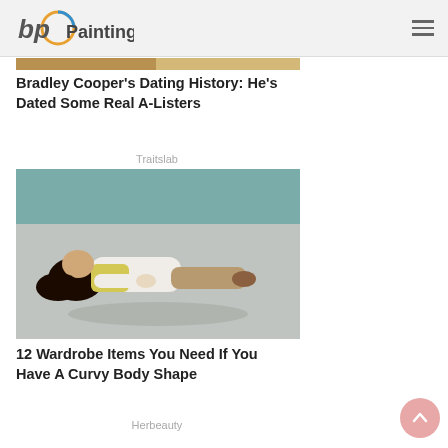bp Painting
[Figure (photo): Partial view of a photo at the top of an article about Bradley Cooper's dating history]
Bradley Cooper's Dating History: He's Dated Some Real A-Listers
Traitslab
[Figure (photo): Woman with curly hair lying on the ground outdoors wearing a white top and tan pants]
12 Wardrobe Items You Need If You Have A Curvy Body Shape
Herbeauty